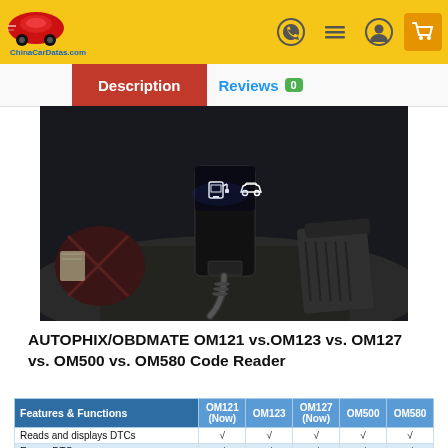ChinaCarDatas.com — Description | Reviews 0
[Figure (photo): Dark interior car photo showing an OBD diagnostic device plugged into the OBD port under dashboard, with illuminated fuel and car icons visible, and car pedals in background.]
AUTOPHIX/OBDMATE OM121 vs.OM123 vs. OM127 vs. OM500 vs. OM580 Code Reader
| Features & Functions | OM121 (Now) | OM123 | OM127 (Now) | OM500 | OM580 |
| --- | --- | --- | --- | --- | --- |
| Reads and displays DTCs | √ | √ | √ | √ | √ |
| Eraser DTCs | √ | √ | √ | √ | √ |